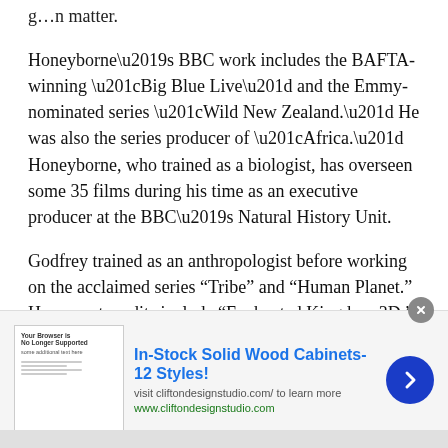g…n matter.
Honeyborne’s BBC work includes the BAFTA-winning “Big Blue Live” and the Emmy-nominated series “Wild New Zealand.” He was also the series producer of “Africa.” Honeyborne, who trained as a biologist, has overseen some 35 films during his time as an executive producer at the BBC’s Natural History Unit.
Godfrey trained as an anthropologist before working on the acclaimed series “Tribe” and “Human Planet.” Her recent credits include “Enchanted Kingdom 3D,” “Wild Atlantic” and “Wild New Zealand.”
Freeborne will be based in Bristol, England
[Figure (infographic): Advertisement banner for In-Stock Solid Wood Cabinets showing a thumbnail image of a browser with a 'Your Browser is No Longer Supported' message, the headline 'In-Stock Solid Wood Cabinets-12 Styles!', subtext 'visit cliftondesignstudio.com/ to learn more', URL 'www.cliftondesignstudio.com', a blue circular arrow button, and a close (X) button.]